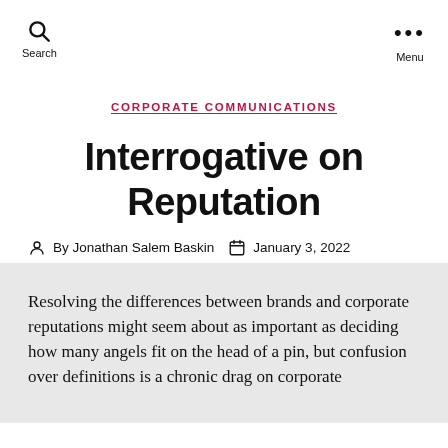Search   Menu
CORPORATE COMMUNICATIONS
Interrogative on Reputation
By Jonathan Salem Baskin   January 3, 2022
Resolving the differences between brands and corporate reputations might seem about as important as deciding how many angels fit on the head of a pin, but confusion over definitions is a chronic drag on corporate